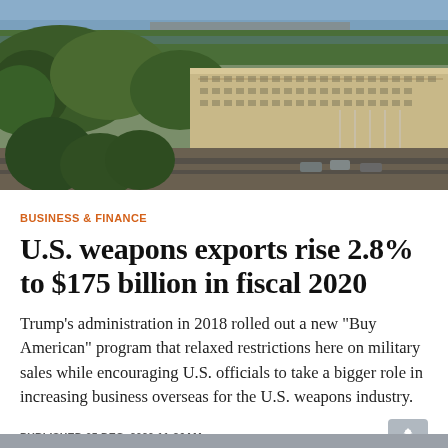[Figure (photo): Aerial photograph of the Pentagon building in Arlington, Virginia, surrounded by trees and roads]
BUSINESS & FINANCE
U.S. weapons exports rise 2.8% to $175 billion in fiscal 2020
Trump's administration in 2018 rolled out a new "Buy American" program that relaxed restrictions here on military sales while encouraging U.S. officials to take a bigger role in increasing business overseas for the U.S. weapons industry.
PUBLISHED 05 DEC, 2020 11:36AM